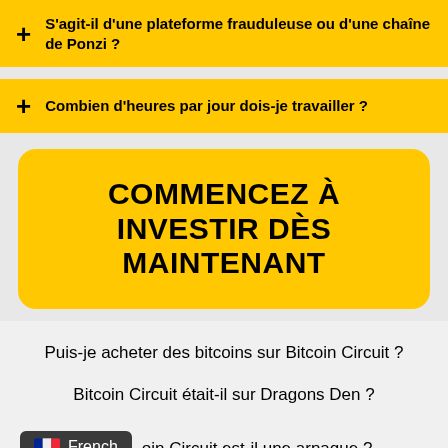S'agit-il d'une plateforme frauduleuse ou d'une chaîne de Ponzi ?
Combien d'heures par jour dois-je travailler ?
COMMENCEZ À INVESTIR DÈS MAINTENANT
Puis-je acheter des bitcoins sur Bitcoin Circuit ?
Bitcoin Circuit était-il sur Dragons Den ?
Bitcoin Circuit est-il une arnaque ?
French